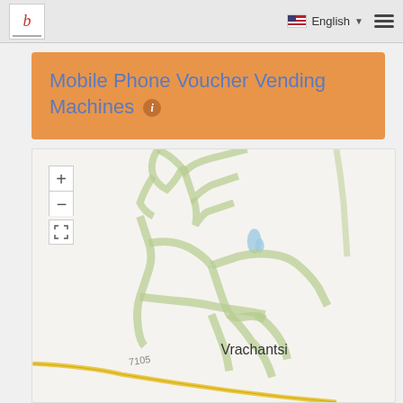b | English ☰
Mobile Phone Voucher Vending Machines ℹ
[Figure (map): Street map showing the area around Vrachantsi with road 7105 and green-outlined road network. Map includes zoom controls (+, -, fullscreen) in the top left corner.]